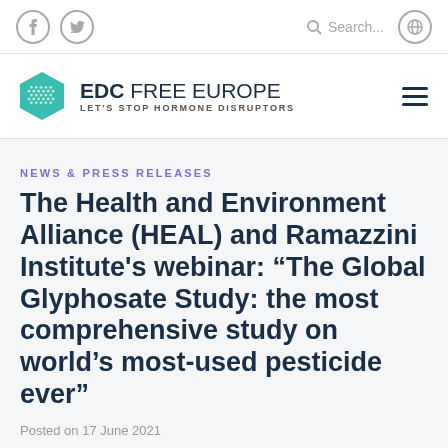Navigation bar with social icons (Facebook, Twitter), Search, and globe icon
[Figure (logo): EDC FREE EUROPE - LET'S STOP HORMONE DISRUPTORS logo with teal hexagon icon]
NEWS & PRESS RELEASES
The Health and Environment Alliance (HEAL) and Ramazzini Institute's webinar: “The Global Glyphosate Study: the most comprehensive study on world’s most-used pesticide ever”
Posted on 17 June 2021